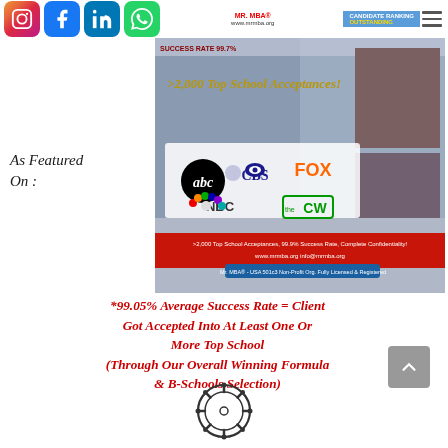[Figure (screenshot): Social media icon bar with Instagram, Facebook, LinkedIn, WhatsApp icons and hamburger menu]
[Figure (photo): Promotional banner for Mr. MBA showing top school acceptances, TV network logos (ABC, CBS, FOX, NBC, CW), student photos, success rate text, website and org info]
>2,000 Top School Acceptances!
As Featured On :
*99.05% Average Success Rate = Client Got Accepted Into At Least One Or More Top School (Through Our Overall Winning Formula & B-Schools Selection)
[Figure (illustration): Ship wheel / compass rose icon in black outline]